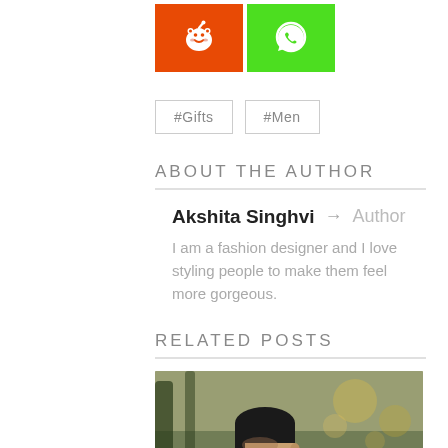[Figure (logo): Reddit orange button icon and WhatsApp green button icon side by side]
#Gifts
#Men
ABOUT THE AUTHOR
Akshita Singhvi → Author
I am a fashion designer and I love styling people to make them feel more gorgeous.
RELATED POSTS
[Figure (photo): A man with dark hair and beard outdoors, with blurred trees in background]